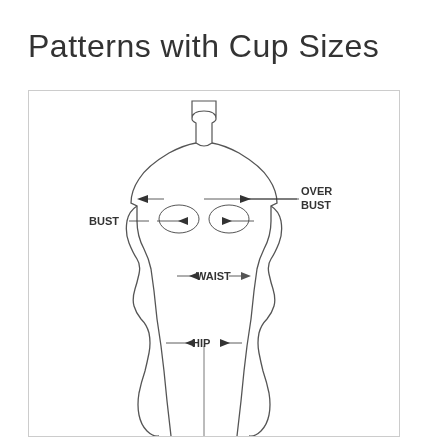Patterns with Cup Sizes
[Figure (illustration): Front-view outline of a female mannequin/dress form showing measurement indicators: OVER BUST (upper chest area with arrows), BUST (fullest chest area with arrows), WAIST (narrowest torso area with arrows), HIP (widest hip area with arrows). Lines and arrows point to each measurement location on the body outline.]